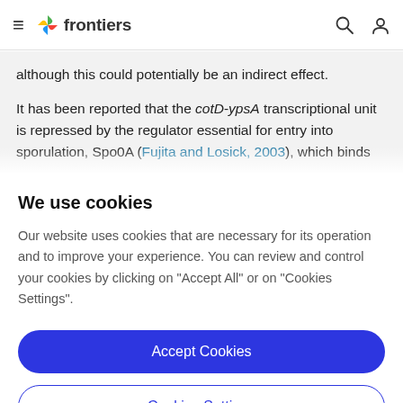frontiers
although this could potentially be an indirect effect.
It has been reported that the cotD-ypsA transcriptional unit is repressed by the regulator essential for entry into sporulation, Spo0A (Fujita and Losick, 2003), which binds
We use cookies
Our website uses cookies that are necessary for its operation and to improve your experience. You can review and control your cookies by clicking on "Accept All" or on "Cookies Settings".
Accept Cookies
Cookies Settings